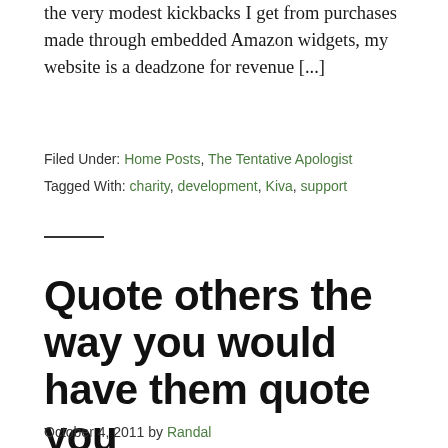the very modest kickbacks I get from purchases made through embedded Amazon widgets, my website is a deadzone for revenue [...]
Filed Under: Home Posts, The Tentative Apologist
Tagged With: charity, development, Kiva, support
Quote others the way you would have them quote you
October 4, 2011 by Randal